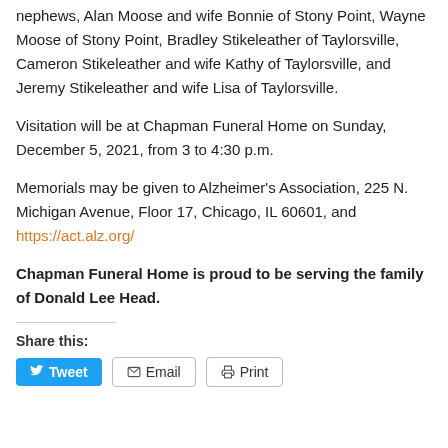nephews, Alan Moose and wife Bonnie of Stony Point, Wayne Moose of Stony Point, Bradley Stikeleather of Taylorsville, Cameron Stikeleather and wife Kathy of Taylorsville, and Jeremy Stikeleather and wife Lisa of Taylorsville.
Visitation will be at Chapman Funeral Home on Sunday, December 5, 2021, from 3 to 4:30 p.m.
Memorials may be given to Alzheimer's Association, 225 N. Michigan Avenue, Floor 17, Chicago, IL 60601, and https://act.alz.org/
Chapman Funeral Home is proud to be serving the family of Donald Lee Head.
Share this:
Tweet  Email  Print